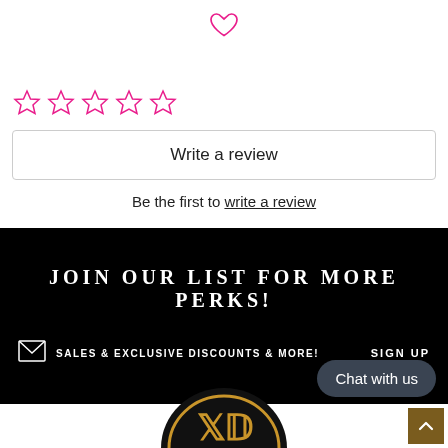[Figure (illustration): Pink heart outline icon centered at top]
[Figure (illustration): Five pink outline star rating icons]
Write a review
Be the first to write a review
JOIN OUR LIST FOR MORE PERKS!
SALES & EXCLUSIVE DISCOUNTS & MORE!
SIGN UP
[Figure (illustration): Envelope icon]
Chat with us
[Figure (logo): Circular black and gold brand logo at bottom center]